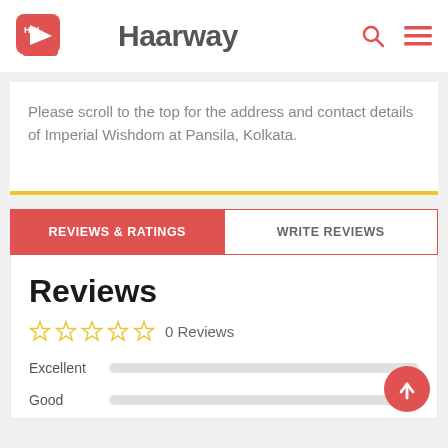Haarway
Please scroll to the top for the address and contact details of Imperial Wishdom at Pansila, Kolkata.
REVIEWS & RATINGS | WRITE REVIEWS
Reviews
☆☆☆☆☆ 0 Reviews
Excellent
Good